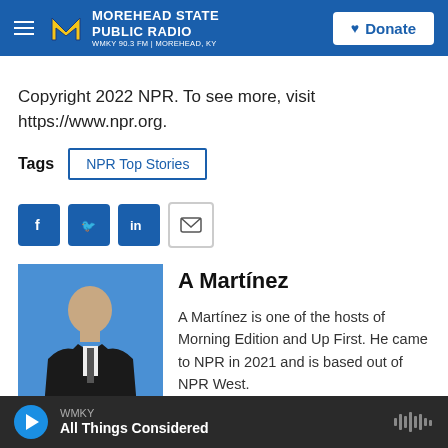MOREHEAD STATE PUBLIC RADIO WMKY 90.3 FM | MOREHEAD, KY
Copyright 2022 NPR. To see more, visit https://www.npr.org.
Tags  NPR Top Stories
[Figure (other): Social sharing icons: Facebook, Twitter, LinkedIn, Email]
[Figure (photo): Photo of A Martínez, a man in a black suit and tie, posed against a blue background]
A Martínez
A Martínez is one of the hosts of Morning Edition and Up First. He came to NPR in 2021 and is based out of NPR West.
WMKY  All Things Considered